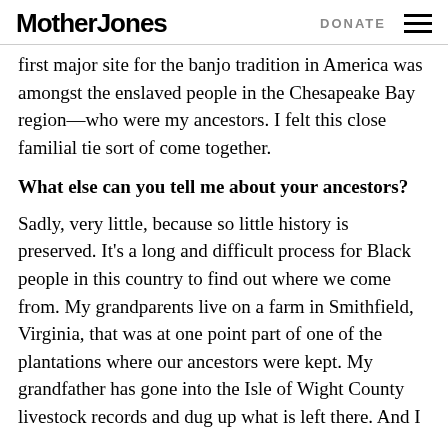Mother Jones | DONATE
first major site for the banjo tradition in America was amongst the enslaved people in the Chesapeake Bay region—who were my ancestors. I felt this close familial tie sort of come together.
What else can you tell me about your ancestors?
Sadly, very little, because so little history is preserved. It's a long and difficult process for Black people in this country to find out where we come from. My grandparents live on a farm in Smithfield, Virginia, that was at one point part of one of the plantations where our ancestors were kept. My grandfather has gone into the Isle of Wight County livestock records and dug up what is left there. And I